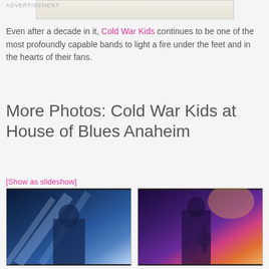ADVERTISEMENT
[Figure (photo): Advertisement image placeholder at top of page]
Even after a decade in it, Cold War Kids continues to be one of the most profoundly capable bands to light a fire under the feet and in the hearts of their fans.
More Photos: Cold War Kids at House of Blues Anaheim
[Show as slideshow]
[Figure (photo): Concert photo 1 - performer in blue stage lighting at House of Blues Anaheim]
[Figure (photo): Concert photo 2 - guitarist in purple/orange stage lighting at House of Blues Anaheim]